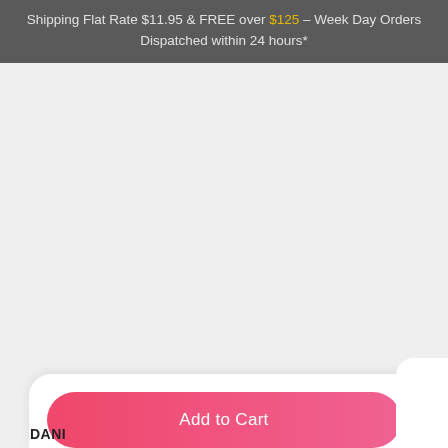Shipping Flat Rate $11.95 & FREE over $125 – Week Day Orders Dispatched within 24 hours*
[Figure (screenshot): Large empty product image area with light grey background]
Add to Cart
DANI